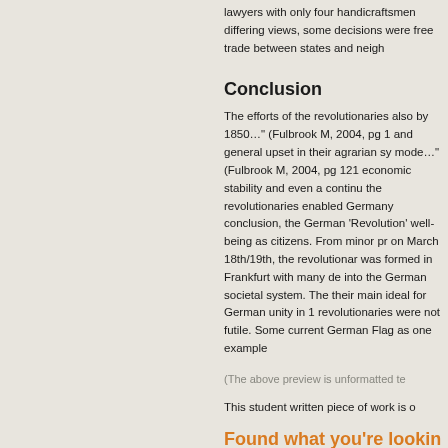lawyers with only four handicraftsmen differing views, some decisions were free trade between states and neigh
Conclusion
The efforts of the revolutionaries also by 1850…" (Fulbrook M, 2004, pg 1 and general upset in their agrarian sy mode…" (Fulbrook M, 2004, pg 121 economic stability and even a continu the revolutionaries enabled Germany conclusion, the German 'Revolution' well-being as citizens. From minor pr on March 18th/19th, the revolutionar was formed in Frankfurt with many de into the German societal system. The their main ideal for German unity in 1 revolutionaries were not futile. Some current German Flag as one example
(The above preview is unformatted te
This student written piece of work is o
Found what you're lookin